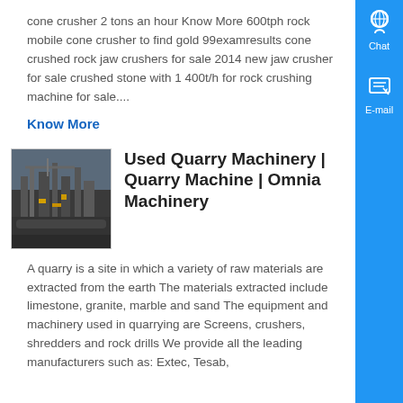cone crusher 2 tons an hour Know More 600tph rock mobile cone crusher to find gold 99examresults cone crushed rock jaw crushers for sale 2014 new jaw crusher for sale crushed stone with 1 400t/h for rock crushing machine for sale....
Know More
[Figure (photo): Thumbnail image of quarry machinery at a plant site]
Used Quarry Machinery | Quarry Machine | Omnia Machinery
A quarry is a site in which a variety of raw materials are extracted from the earth The materials extracted include limestone, granite, marble and sand The equipment and machinery used in quarrying are Screens, crushers, shredders and rock drills We provide all the leading manufacturers such as: Extec, Tesab,